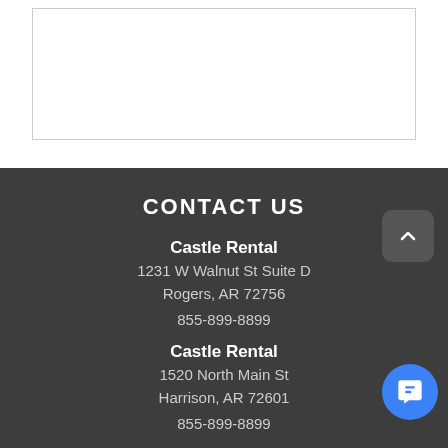CONTACT US
Castle Rental
1231 W Walnut St Suite D
Rogers, AR 72756
855-899-8899
Castle Rental
1520 North Main St
Harrison, AR 72601
855-899-8899
Castle Rental
798 S School Ave